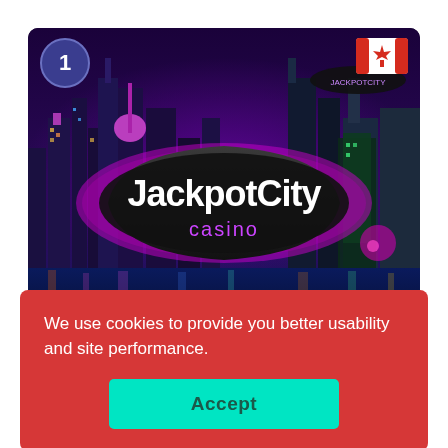[Figure (screenshot): JackpotCity Casino promotional banner showing city skyline at night with purple/neon lighting and the JackpotCity casino logo in foreground. A number '1' badge appears top-left and a Canadian flag top-right.]
We use cookies to provide you better usability and site performance.
Accept
REVIEW